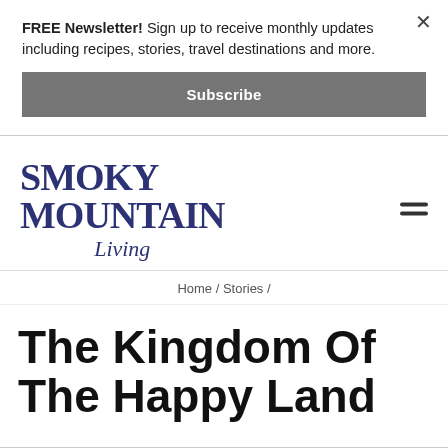FREE Newsletter! Sign up to receive monthly updates including recipes, stories, travel destinations and more.
Subscribe
[Figure (logo): Smoky Mountain Living magazine logo in dark blue serif font]
Home / Stories /
The Kingdom Of The Happy Land